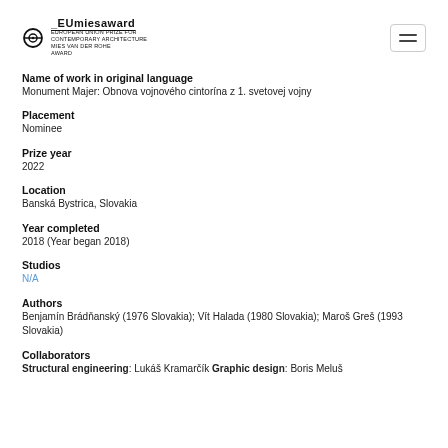EU Mies Award — European Union Prize for Contemporary Architecture
Name of work in original language
Monument Majer: Obnova vojnového cintorína z 1. svetovej vojny
Placement
Nominee
Prize year
2022
Location
Banská Bystrica, Slovakia
Year completed
2018 (Year began 2018)
Studios
N/A
Authors
Benjamín Brádňanský (1976 Slovakia); Vít Halada (1980 Slovakia); Maroš Greš (1993 Slovakia)
Collaborators
Structural engineering: Lukáš Kramarčík Graphic design: Boris Meluš